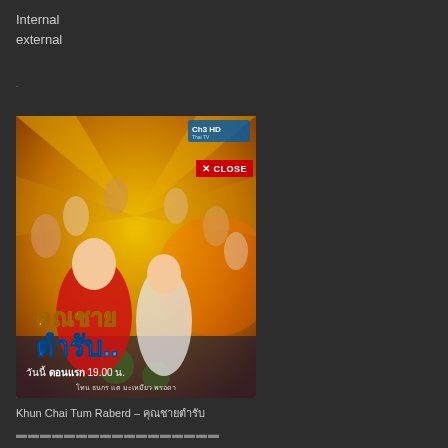Internal
external
[Figure (photo): Thai TV drama promotional poster for 'Khun Chai Tum Raberd' showing the main cast. A man in a red tuxedo and a woman in a white dress are in the foreground, with additional cast members in the background. The poster features Thai text with title and premiere time '19.00 น.' A red 'X CLOSE' button overlay is visible on the poster.]
Khun Chai Tum Raberd – คุณชายตำรับ